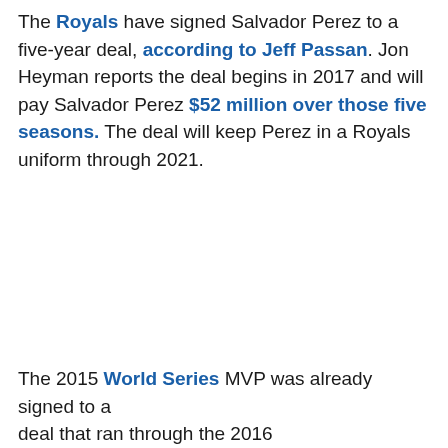The Royals have signed Salvador Perez to a five-year deal, according to Jeff Passan. Jon Heyman reports the deal begins in 2017 and will pay Salvador Perez $52 million over those five seasons. The deal will keep Perez in a Royals uniform through 2021.
The 2015 World Series MVP was already signed to a deal that ran through the 2016...